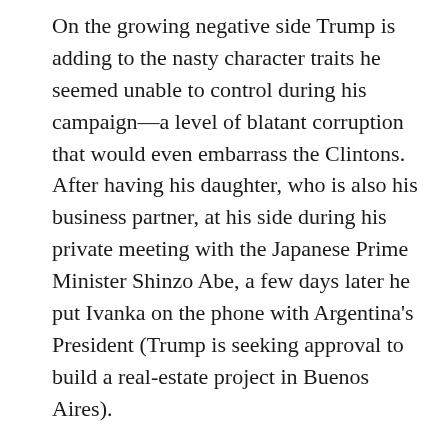On the growing negative side Trump is adding to the nasty character traits he seemed unable to control during his campaign—a level of blatant corruption that would even embarrass the Clintons. After having his daughter, who is also his business partner, at his side during his private meeting with the Japanese Prime Minister Shinzo Abe, a few days later he put Ivanka on the phone with Argentina's President (Trump is seeking approval to build a real-estate project in Buenos Aires).
For me these examples of Trumps many conflicts of interests pale in comparison to the deal he claims credit for to keep 1000 Carrier jobs in Indiana where Mike Pence is still the